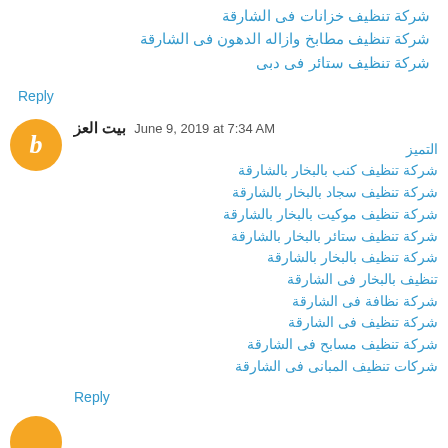شركة تنظيف خزانات في الشارقة
شركة تنظيف مطابخ وازاله الدهون في الشارقة
شركة تنظيف ستائر فى دبى
Reply
بيت العز  June 9, 2019 at 7:34 AM
التميز
شركة تنظيف كنب بالبخار بالشارقة
شركة تنظيف سجاد بالبخار بالشارقة
شركة تنظيف موكيت بالبخار بالشارقة
شركة تنظيف ستائر بالبخار بالشارقة
شركة تنظيف بالبخار بالشارقة
تنظيف بالبخار فى الشارقة
شركة نظافة فى الشارقة
شركة تنظيف فى الشارقة
شركة تنظيف مسابح فى الشارقة
شركات تنظيف المبانى فى الشارقة
Reply